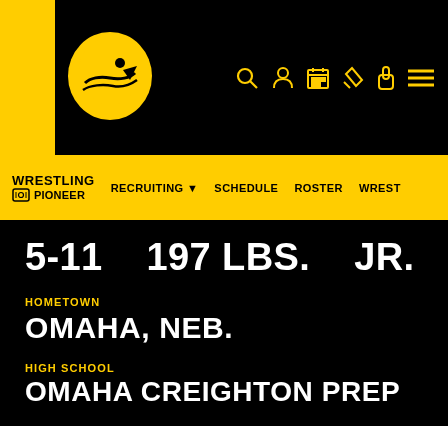[Figure (logo): University of Iowa Hawkeye logo on black header bar with gold stripe]
WRESTLING PIONEER | RECRUITING | SCHEDULE | ROSTER | WREST
5-11   197 LBS.   JR.
HOMETOWN
OMAHA, NEB.
HIGH SCHOOL
OMAHA CREIGHTON PREP
BIO